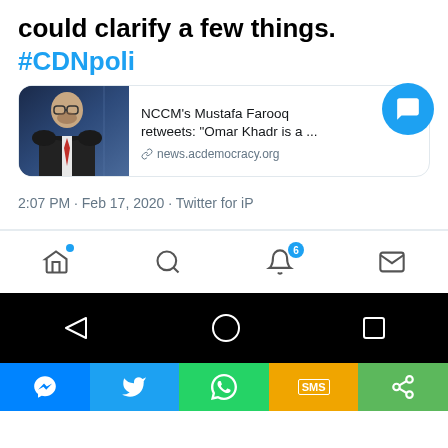could clarify a few things. #CDNpoli
[Figure (screenshot): Twitter link card showing profile photo of a man with glasses in a suit, with text: NCCM's Mustafa Farooq retweets: "Omar Khadr is a ..." and URL news.acdemocracy.org]
2:07 PM · Feb 17, 2020 · Twitter for iPhone
[Figure (screenshot): Twitter mobile app navigation bar with home, search, notifications (badge 6), and messages icons]
[Figure (screenshot): Android navigation bar with back, home, and recents buttons on black background]
[Figure (screenshot): Share bar with Messenger, Twitter, WhatsApp, SMS, and more options]